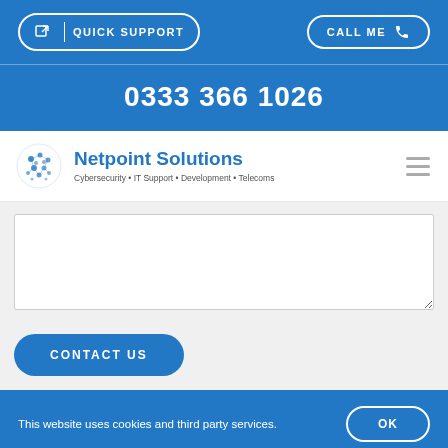QUICK SUPPORT | CALL ME
0333 366 1026
[Figure (logo): Netpoint Solutions logo with globe icon, tagline: Cybersecurity • IT Support • Development • Telecoms]
CONTACT US
This website uses cookies and third party services. OK